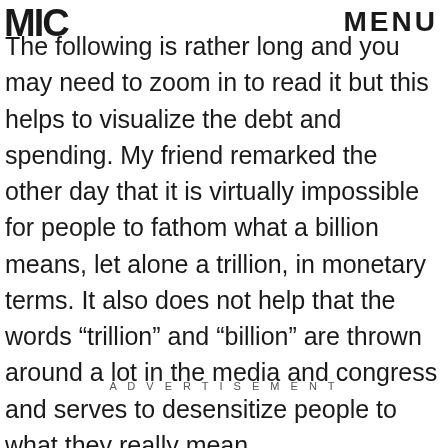MIC   MENU
The following is rather long and you may need to zoom in to read it but this helps to visualize the debt and spending. My friend remarked the other day that it is virtually impossible for people to fathom what a billion means, let alone a trillion, in monetary terms. It also does not help that the words “trillion” and “billion” are thrown around a lot in the media and congress and serves to desensitize people to what they really mean.
ADVERTISEMENT